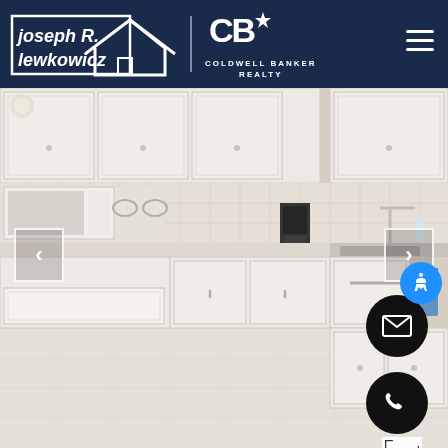[Figure (logo): Joseph R. Lewkowicz real estate agent logo with house outline in white on dark navy background]
[Figure (logo): Coldwell Banker Realty logo in white on dark navy background]
[Figure (photo): Kitchen interior with white cabinets, white appliances including stove and microwave, tile backsplash, and light tile flooring. A blue towel hangs near the sink.]
[Figure (infographic): Navigation arrows (left and right), accessibility button (blue circle with person icon), email button (black circle with envelope icon), phone button (black circle with phone icon), and expand/fullscreen button]